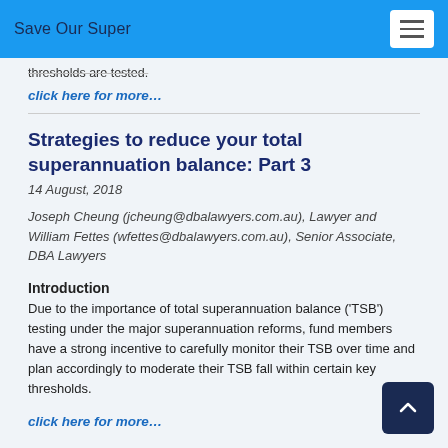Save Our Super
thresholds are tested.
click here for more…
Strategies to reduce your total superannuation balance: Part 3
14 August, 2018
Joseph Cheung (jcheung@dbalawyers.com.au), Lawyer and William Fettes (wfettes@dbalawyers.com.au), Senior Associate, DBA Lawyers
Introduction
Due to the importance of total superannuation balance ('TSB') testing under the major superannuation reforms, fund members have a strong incentive to carefully monitor their TSB over time and plan accordingly to moderate their TSB fall within certain key thresholds.
click here for more…